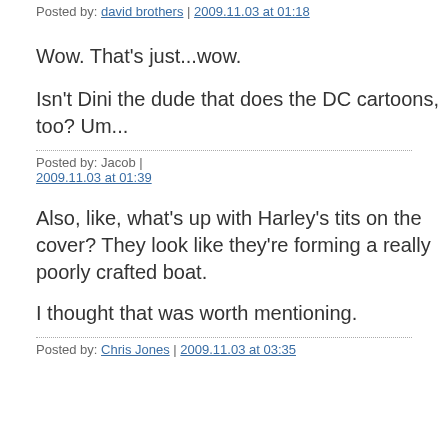Posted by: david brothers | 2009.11.03 at 01:18
Wow. That's just...wow.
Isn't Dini the dude that does the DC cartoons, too? Um...
Posted by: Jacob | 2009.11.03 at 01:39
Also, like, what's up with Harley's tits on the cover? They look like they're forming a really poorly crafted boat.
I thought that was worth mentioning.
Posted by: Chris Jones | 2009.11.03 at 03:35